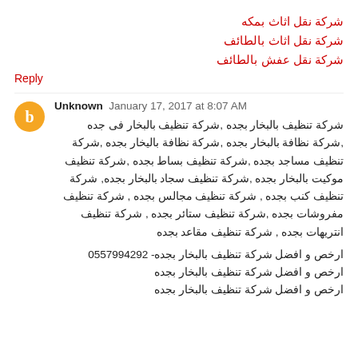شركة نقل اثاث بمكه
شركة نقل اثاث بالطائف
شركة نقل عفش بالطائف
Reply
Unknown  January 17, 2017 at 8:07 AM
شركة تنظيف بالبخار بجده ,شركة تنظيف بالبخار فى جده ,شركة نظافة بالبخار بجده ,شركة نظافة باليخار بجده ,شركة تنظيف مساجد بجده ,شركة تنظيف بساط بجده ,شركة تنظيف موكيت بالبخار بجده ,شركة تنظيف سجاد بالبخار بجده, شركة تنظيف كنب بجده , شركة تنظيف مجالس بجده , شركة تنظيف مفروشات بجده ,شركة تنظيف ستائر بجده , شركة تنظيف انتريهات بجده , شركة تنظيف مقاعد بجده
ارخص و افضل شركة تنظيف بالبخار بجده- 0557994292
ارخص و افضل شركة تنظيف بالبخار بجده
ارخص و افضل شركة تنظيف بالبخار بجده